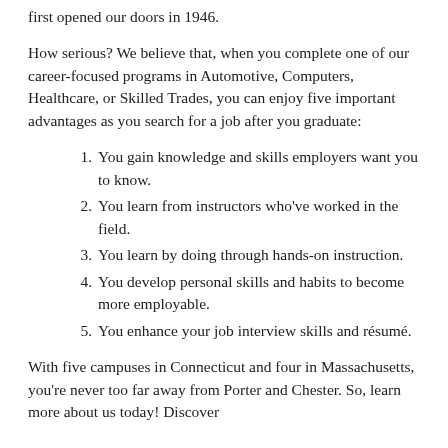first opened our doors in 1946.
How serious? We believe that, when you complete one of our career-focused programs in Automotive, Computers, Healthcare, or Skilled Trades, you can enjoy five important advantages as you search for a job after you graduate:
You gain knowledge and skills employers want you to know.
You learn from instructors who've worked in the field.
You learn by doing through hands-on instruction.
You develop personal skills and habits to become more employable.
You enhance your job interview skills and résumé.
With five campuses in Connecticut and four in Massachusetts, you're never too far away from Porter and Chester. So, learn more about us today! Discover